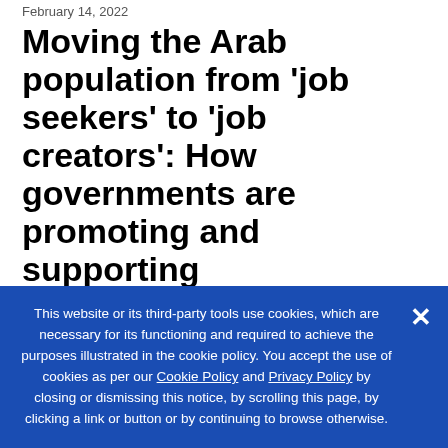February 14, 2022
Moving the Arab population from 'job seekers' to 'job creators': How governments are promoting and supporting entrepreneurship
By Hezha Barzani
On February 7, the Atlantic Council's empowerME
This website or its third-party tools use cookies, which are necessary for its functioning and required to achieve the purposes illustrated in the cookie policy. You accept the use of cookies as per our Cookie Policy and Privacy Policy by closing or dismissing this notice, by scrolling this page, by clicking a link or button or by continuing to browse otherwise.